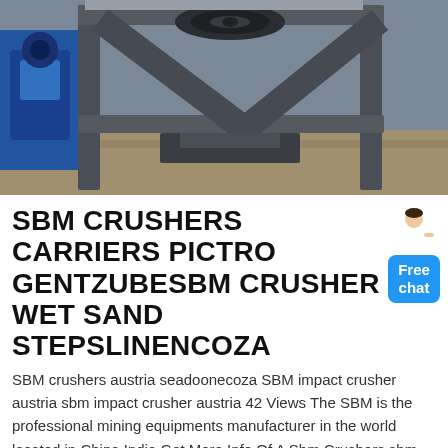[Figure (photo): Industrial crusher/mill machine with dark grey metal frame and large pulley wheel, sitting in a factory/warehouse environment with blue machinery visible in background.]
SBM CRUSHERS CARRIERS PICTRO GENTZUBESBM CRUSHER WET SAND STEPSLINENCOZA
SBM crushers austria seadoonecoza SBM impact crusher austria sbm impact crusher austria 42 Views The SBM is the professional mining equipments manufacturer in the world located in China India Get More Info Of A Sbm Crushers sbm marine crushers kbrmceu sbm crusher wet sand SBM Crushers Grinding Mill VU Integrated Sand Making System bentonite wet processing plant pdf Sbm Crushers Carriers scbmeusbm crushers carriers sand washing